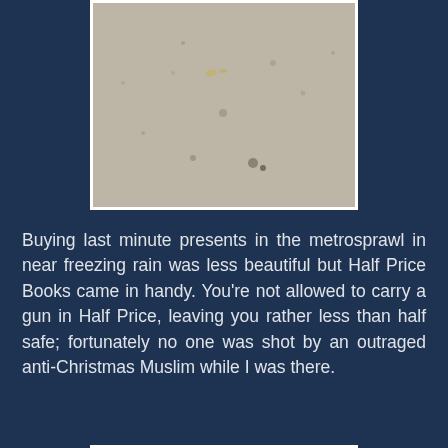[Figure (photo): A close-up photograph of a sandy or concrete textured surface, light beige/grey in color with scattered small dark spots and specks. The image has a white border frame.]
Buying last minute presents in the metrosprawl in near freezing rain was less beautiful but Half Price Books came in handy. You're not allowed to carry a gun in Half Price, leaving you rather less than half safe; fortunately no one was shot by an outraged anti-Christmas Muslim while I was there.